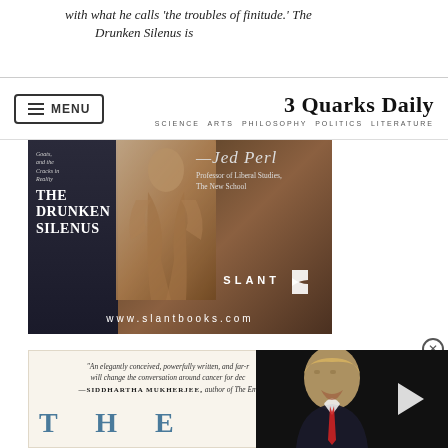with what he calls ‘the troubles of finitude.’ The Drunken Silenus is
3 Quarks Daily — SCIENCE ARTS PHILOSOPHY POLITICS LITERATURE
[Figure (photo): Advertisement for 'The Drunken Silenus' book by Slant Books. Shows book spine with classical painting, quote by Jed Perl (Professor of Liberal Studies, The New School), Slant logo, and URL www.slantbooks.com]
[Figure (photo): Second advertisement showing quote: 'An elegantly conceived, powerfully written, and far-reaching book that will change the conversation around cancer for decades.' — SIDDHARTHA MUKHERJEE, author of The Emperor of All Maladies. Large text reads 'THE' in blue serif letters.]
[Figure (photo): Video overlay showing a man (Donald Trump) with a play button arrow overlay on dark background.]